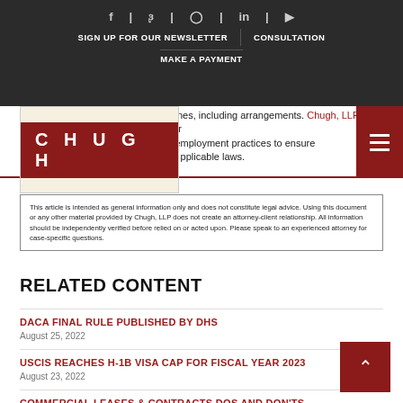SIGN UP FOR OUR NEWSLETTER | CONSULTATION | MAKE A PAYMENT
[Figure (logo): Chugh LLP logo — white text CHUGH on dark red background]
and fines, including arrangements. Chugh, LLP can further employment practices to ensure applicable laws.
This article is intended as general information only and does not constitute legal advice. Using this document or any other material provided by Chugh, LLP does not create an attorney-client relationship. All information should be independently verified before relied on or acted upon. Please speak to an experienced attorney for case-specific questions.
RELATED CONTENT
DACA FINAL RULE PUBLISHED BY DHS
August 25, 2022
USCIS REACHES H-1B VISA CAP FOR FISCAL YEAR 2023
August 23, 2022
COMMERCIAL LEASES & CONTRACTS DOS AND DON'TS
August 15, 2022